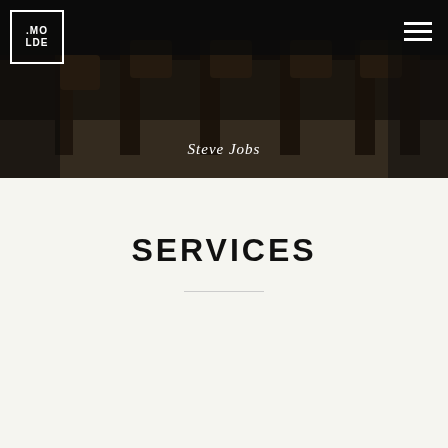[Figure (photo): Dark moody photo of a conference table with wooden chairs in a modern interior setting]
.MOLDE
Steve Jobs
SERVICES
[Figure (illustration): Partial orange circle arc icon at the bottom of a light card section]
ORDER